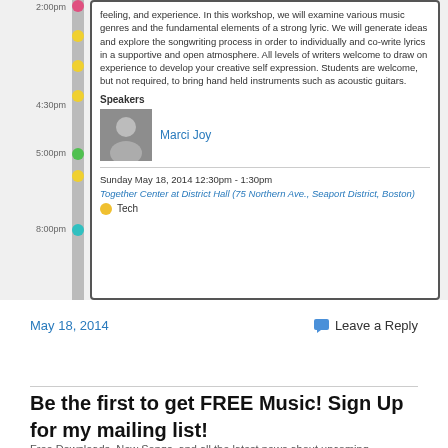[Figure (screenshot): Schedule/event card screenshot showing time labels (2:00pm, 4:30pm, 5:00pm, 8:00pm), colored dots on a vertical bar, and an event card with descriptive text about a songwriting workshop, speaker Marci Joy, date Sunday May 18 2014 12:30pm-1:30pm, location Together Center at District Hall (75 Northern Ave., Seaport District, Boston), and Tech tag.]
May 18, 2014
Leave a Reply
Be the first to get FREE Music! Sign Up for my mailing list!
Free Downloads, New Songs, and all the latest news about upcoming...